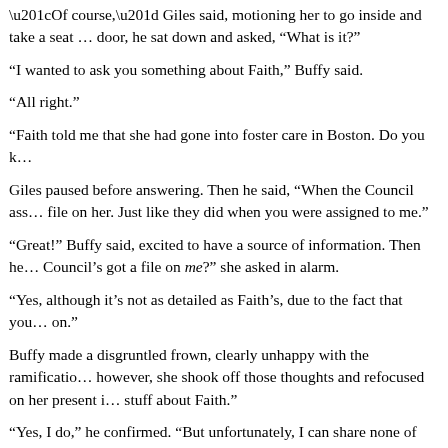“Of course,” Giles said, motioning her to go inside and take a seat... door, he sat down and asked, “What is it?”
“I wanted to ask you something about Faith,” Buffy said.
“All right.”
“Faith told me that she had gone into foster care in Boston. Do you k…
Giles paused before answering. Then he said, “When the Council ass… file on her. Just like they did when you were assigned to me.”
“Great!” Buffy said, excited to have a source of information. Then he… Council’s got a file on me?” she asked in alarm.
“Yes, although it’s not as detailed as Faith’s, due to the fact that you … on.”
Buffy made a disgruntled frown, clearly unhappy with the ramificatio… however, she shook off those thoughts and refocused on her present i… stuff about Faith.”
“Yes, I do,” he confirmed. “But unfortunately, I can share none of it …
“Giiillles,” Buffy whined.
“Faith’s file is confidential, and I will not break that trust,” he told h…